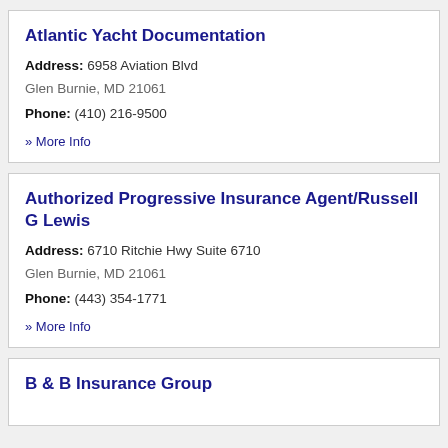Atlantic Yacht Documentation
Address: 6958 Aviation Blvd
Glen Burnie, MD 21061
Phone: (410) 216-9500
» More Info
Authorized Progressive Insurance Agent/Russell G Lewis
Address: 6710 Ritchie Hwy Suite 6710
Glen Burnie, MD 21061
Phone: (443) 354-1771
» More Info
B & B Insurance Group